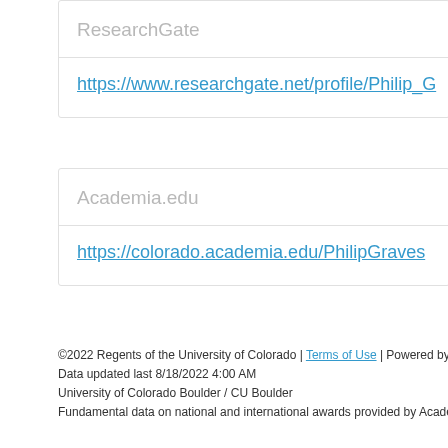ResearchGate
https://www.researchgate.net/profile/Philip_G
Academia.edu
https://colorado.academia.edu/PhilipGraves
©2022 Regents of the University of Colorado | Terms of Use | Powered by VIVO
Data updated last 8/18/2022 4:00 AM
University of Colorado Boulder / CU Boulder
Fundamental data on national and international awards provided by Acade